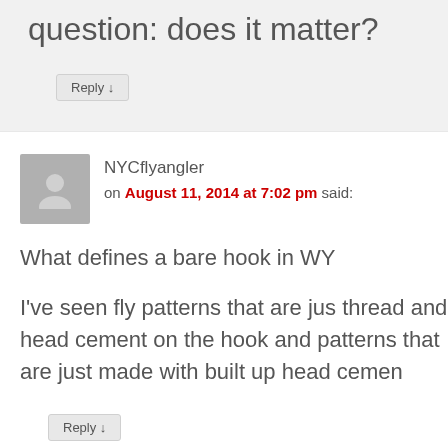question: does it matter?
Reply ↓
NYCflyangler on August 11, 2014 at 7:02 pm said:
What defines a bare hook in WY
I've seen fly patterns that are just thread and head cement on the hook and patterns that are just made with built up head cemen
Reply ↓